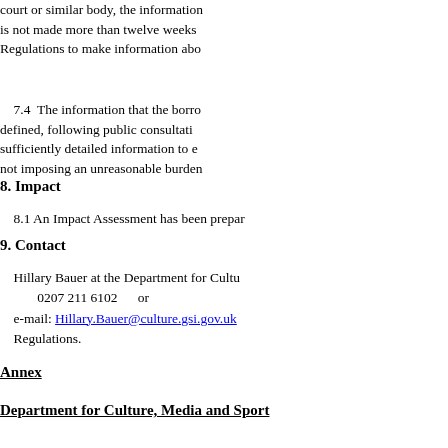court or similar body, the information is not made more than twelve weeks Regulations to make information abo...
7.4 The information that the borro defined, following public consultati sufficiently detailed information to e not imposing an unreasonable burden
8. Impact
8.1 An Impact Assessment has been prepar
9. Contact
Hillary Bauer at the Department for Cultu 0207 211 6102 or e-mail: Hillary.Bauer@culture.gsi.gov.uk Regulations.
Annex
Department for Culture, Media and Sport